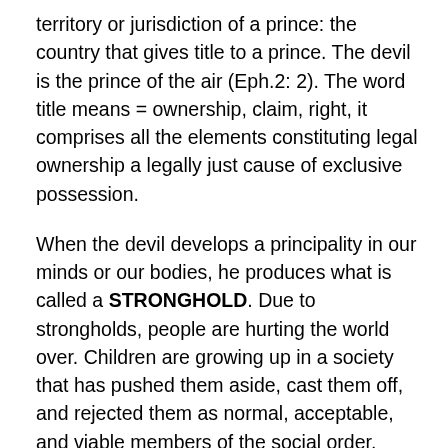territory or jurisdiction of a prince: the country that gives title to a prince. The devil is the prince of the air (Eph.2: 2). The word title means = ownership, claim, right, it comprises all the elements constituting legal ownership a legally just cause of exclusive possession.
When the devil develops a principality in our minds or our bodies, he produces what is called a STRONGHOLD. Due to strongholds, people are hurting the world over. Children are growing up in a society that has pushed them aside, cast them off, and rejected them as normal, acceptable, and viable members of the social order. They are becoming adults that have no direction in their lives, wondering aimlessly, bound, confused, and perplexed. Many in society are being incarcerated mentally, physically, and spiritually. Although free from the human